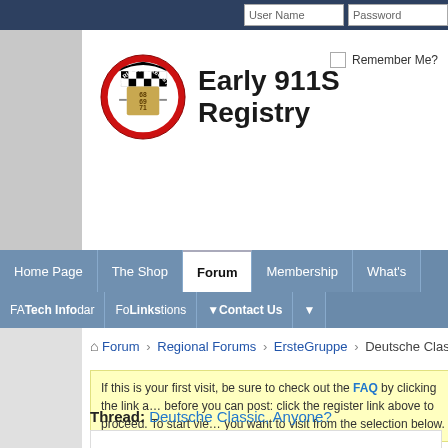[Figure (screenshot): Early 911S Registry forum website screenshot showing header with logo, navigation bar, breadcrumb trail, and thread content area]
Early 911S Registry
Forum › Regional Forums › ErsteGruppe › Deutsche Classi…
If this is your first visit, be sure to check out the FAQ by clicking the link a… before you can post: click the register link above to proceed. To start vie… you want to visit from the selection below.
Thread: Deutsche Classic, Anyone?